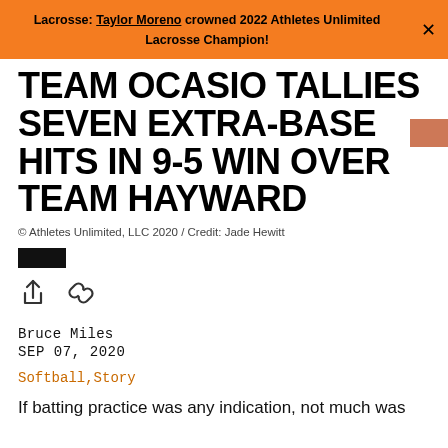Lacrosse: Taylor Moreno crowned 2022 Athletes Unlimited Lacrosse Champion!
TEAM OCASIO TALLIES SEVEN EXTRA-BASE HITS IN 9-5 WIN OVER TEAM HAYWARD
© Athletes Unlimited, LLC 2020 / Credit: Jade Hewitt
Bruce Miles
SEP 07, 2020
Softball,Story
If batting practice was any indication, not much was